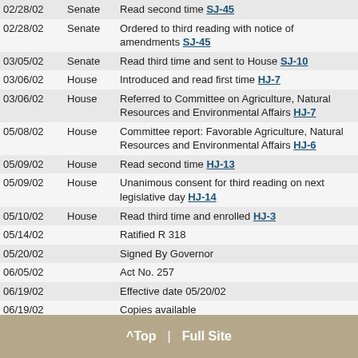| Date | Chamber | Action |
| --- | --- | --- |
| 02/28/02 | Senate | Read second time SJ-45 |
| 02/28/02 | Senate | Ordered to third reading with notice of amendments SJ-45 |
| 03/05/02 | Senate | Read third time and sent to House SJ-10 |
| 03/06/02 | House | Introduced and read first time HJ-7 |
| 03/06/02 | House | Referred to Committee on Agriculture, Natural Resources and Environmental Affairs HJ-7 |
| 05/08/02 | House | Committee report: Favorable Agriculture, Natural Resources and Environmental Affairs HJ-6 |
| 05/09/02 | House | Read second time HJ-13 |
| 05/09/02 | House | Unanimous consent for third reading on next legislative day HJ-14 |
| 05/10/02 | House | Read third time and enrolled HJ-3 |
| 05/14/02 |  | Ratified R 318 |
| 05/20/02 |  | Signed By Governor |
| 06/05/02 |  | Act No. 257 |
| 06/19/02 |  | Effective date 05/20/02 |
| 06/19/02 |  | Copies available |
^Top | Full Site